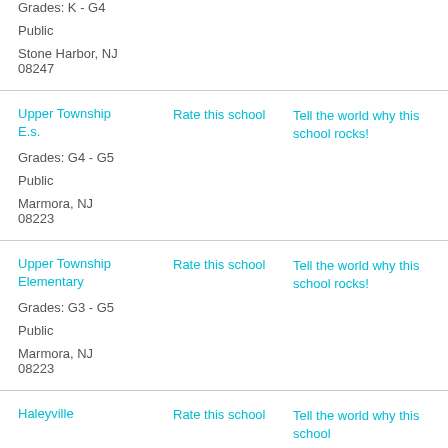Grades: K - G4
Public
Stone Harbor, NJ 08247
Upper Township E.s.
Grades: G4 - G5
Public
Marmora, NJ 08223
Rate this school
Tell the world why this school rocks!
Upper Township Elementary
Grades: G3 - G5
Public
Marmora, NJ 08223
Rate this school
Tell the world why this school rocks!
Haleyville
Rate this school
Tell the world why this school